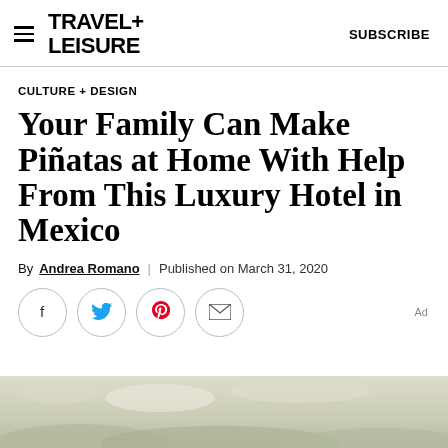TRAVEL+ LEISURE  |  SUBSCRIBE
CULTURE + DESIGN
Your Family Can Make Piñatas at Home With Help From This Luxury Hotel in Mexico
By Andrea Romano | Published on March 31, 2020
[Figure (other): Social sharing buttons: Facebook, Twitter, Pinterest, Email]
[Figure (photo): Partial image at bottom of page showing a scenic outdoor view, likely a beach or resort in Mexico]